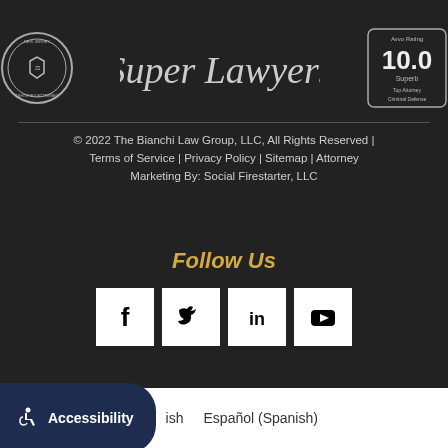[Figure (logo): Badge logos: certified attorney seal, Super Lawyers text logo, Avvo Rating 10.0 Superb Top Attorney Criminal Defense badge]
© 2022 The Bianchi Law Group, LLC, All Rights Reserved | Terms of Service | Privacy Policy | Sitemap | Attorney Marketing By: Social Firestarter, LLC
Follow Us
[Figure (illustration): Social media icons: Facebook, Twitter, LinkedIn, YouTube in white square boxes]
Accessibility  ish  Español (Spanish)